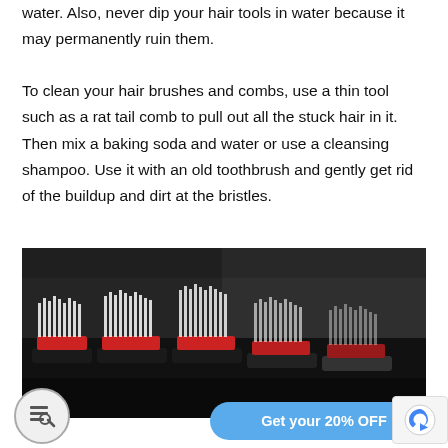water. Also, never dip your hair tools in water because it may permanently ruin them.
To clean your hair brushes and combs, use a thin tool such as a rat tail comb to pull out all the stuck hair in it. Then mix a baking soda and water or use a cleansing shampoo. Use it with an old toothbrush and gently get rid of the buildup and dirt at the bristles.
[Figure (photo): Close-up photo of multiple hair brushes with white bristles and red bases lined up on a dark surface, resembling salon combs/brushes.]
Get your 20% OFF